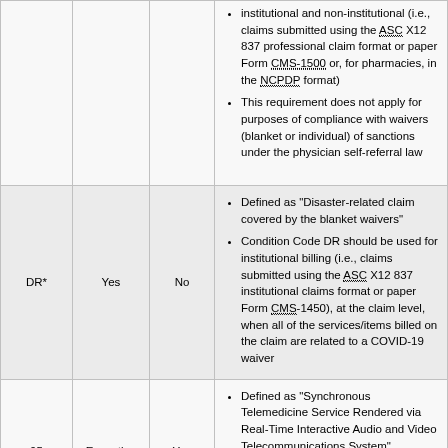| Code | Yes/No/Exception | Yes/No | Description |
| --- | --- | --- | --- |
|  |  |  | institutional and non-institutional (i.e., claims submitted using the ASC X12 837 professional claim format or paper Form CMS-1500 or, for pharmacies, in the NCPDP format)
This requirement does not apply for purposes of compliance with waivers (blanket or individual) of sanctions under the physician self-referral law |
| DR* | Yes | No | Defined as "Disaster-related claim covered by the blanket waivers"
Condition Code DR should be used for institutional billing (i.e., claims submitted using the ASC X12 837 institutional claims format or paper Form CMS-1450), at the claim level, when all of the services/items billed on the claim are related to a COVID-19 waiver |
| 95 | Exception | Yes | Defined as "Synchronous Telemedicine Service Rendered via Real-Time Interactive Audio and Video Telecommunications System"
Should only be appended to approved telehealth codes appearing on the current |